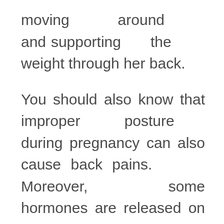moving around and supporting the weight through her back.
You should also know that improper posture during pregnancy can also cause back pains. Moreover, some hormones are released on a pregnant woman that can trigger back pains as well. These hormones eventually loosen up the joints to make room for the baby to grow,